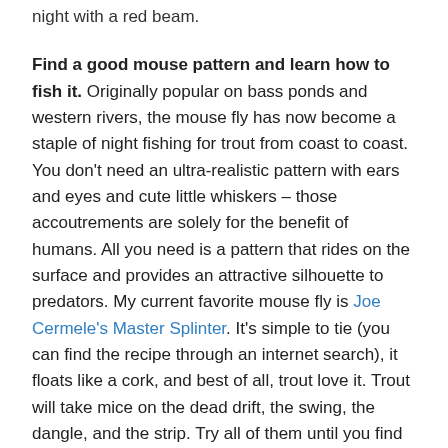night with a red beam.
Find a good mouse pattern and learn how to fish it. Originally popular on bass ponds and western rivers, the mouse fly has now become a staple of night fishing for trout from coast to coast. You don't need an ultra-realistic pattern with ears and eyes and cute little whiskers – those accoutrements are solely for the benefit of humans. All you need is a pattern that rides on the surface and provides an attractive silhouette to predators. My current favorite mouse fly is Joe Cermele's Master Splinter. It's simple to tie (you can find the recipe through an internet search), it floats like a cork, and best of all, trout love it. Trout will take mice on the dead drift, the swing, the dangle, and the strip. Try all of them until you find some customers.
The pitted, scarred foam back of a Master Splinter mouse fly offers mute testimony to the savage nature